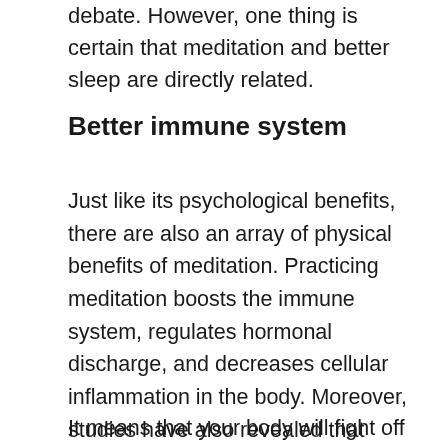debate. However, one thing is certain that meditation and better sleep are directly related.
Better immune system
Just like its psychological benefits, there are also an array of physical benefits of meditation. Practicing meditation boosts the immune system, regulates hormonal discharge, and decreases cellular inflammation in the body. Moreover, studies have also revealed that people who meditate regularly have a higher number of antibodies and produce these antibodies more rapidly than those who don't.
It means that your body will fight off diseases